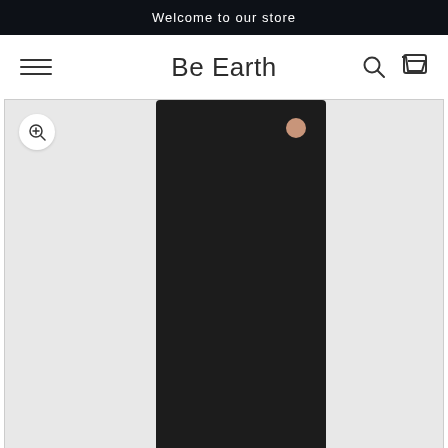Welcome to our store
Be Earth
[Figure (photo): A dark charcoal/black yoga mat laid flat on a light grey background, with a small rose gold circular logo near the top right corner of the mat. A zoom icon button is visible in the top left of the image frame.]